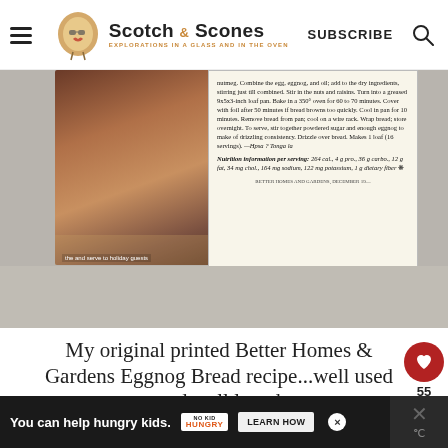Scotch & Scones — EXPLORATIONS IN A GLASS AND IN THE OVEN
[Figure (photo): Photograph of an original printed Better Homes & Gardens Eggnog Bread recipe card clipping, showing the end of the recipe text and nutrition information, placed on a gray surface with a partial food image on the left.]
My original printed Better Homes & Gardens Eggnog Bread recipe...well used and well loved
You can help hungry kids. NO KID HUNGRY LEARN HOW